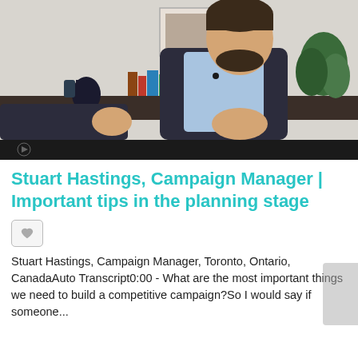[Figure (photo): Video thumbnail showing a man in a dark blazer and light blue shirt speaking to camera, with a bookshelf and artwork in the background. A dark control bar appears at the bottom of the video frame.]
Stuart Hastings, Campaign Manager | Important tips in the planning stage
Stuart Hastings, Campaign Manager, Toronto, Ontario, CanadaAuto Transcript0:00 - What are the most important things we need to build a competitive campaign?So I would say if someone...